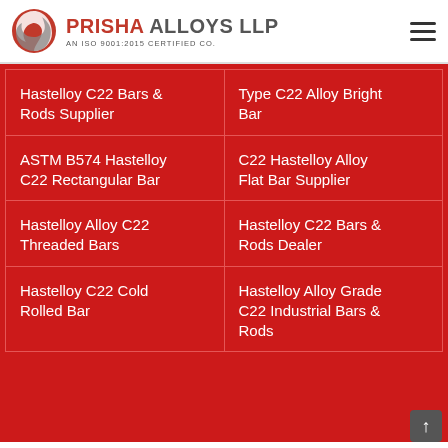PRISHA ALLOYS LLP — AN ISO 9001:2015 CERTIFIED CO.
| Hastelloy C22 Bars & Rods Supplier | Type C22 Alloy Bright Bar |
| ASTM B574 Hastelloy C22 Rectangular Bar | C22 Hastelloy Alloy Flat Bar Supplier |
| Hastelloy Alloy C22 Threaded Bars | Hastelloy C22 Bars & Rods Dealer |
| Hastelloy C22 Cold Rolled Bar | Hastelloy Alloy Grade C22 Industrial Bars & Rods |